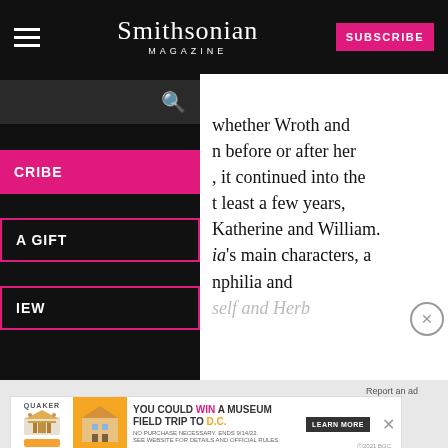Smithsonian MAGAZINE | SUBSCRIBE
[Figure (screenshot): Smithsonian Magazine website navigation with hamburger menu, logo, and subscribe button on black bar]
whether Wroth and before or after her , it continued into the t least a few years, Katherine and William. ia's main characters, a nphilia and self and Herb
[Figure (infographic): Quaker Museum Day ad: YOU COULD WIN A MUSEUM FIELD TRIP TO D.C. LEARN MORE]
Science
nd